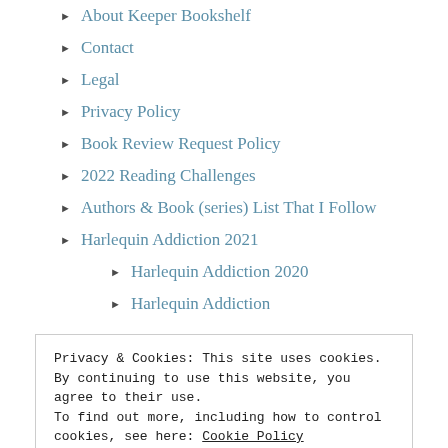About Keeper Bookshelf
Contact
Legal
Privacy Policy
Book Review Request Policy
2022 Reading Challenges
Authors & Book (series) List That I Follow
Harlequin Addiction 2021
Harlequin Addiction 2020
Harlequin Addiction
Privacy & Cookies: This site uses cookies. By continuing to use this website, you agree to their use.
To find out more, including how to control cookies, see here: Cookie Policy
Close and accept
Marietta, Montana